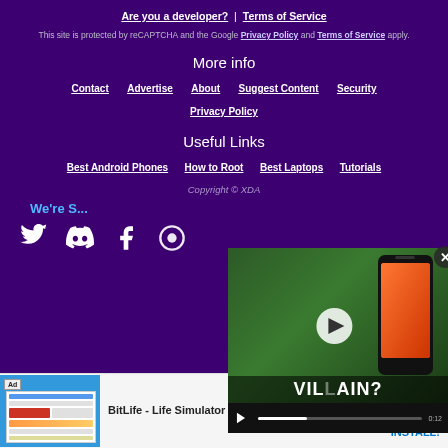Are you a developer? | Terms of Service
This site is protected by reCAPTCHA and the Google Privacy Policy and Terms of Service apply.
More info
Contact
Advertise
About
Suggest Content
Security
Privacy Policy
Useful Links
Best Android Phones
How to Root
Best Laptops
Tutorials
Copyright © XDA
We're S...
[Figure (screenshot): Video player overlay showing a smartphone with text VILLAIN? and play button, with close button]
[Figure (screenshot): Advertisement for BitLife - Life Simulator app with INSTALL! button]